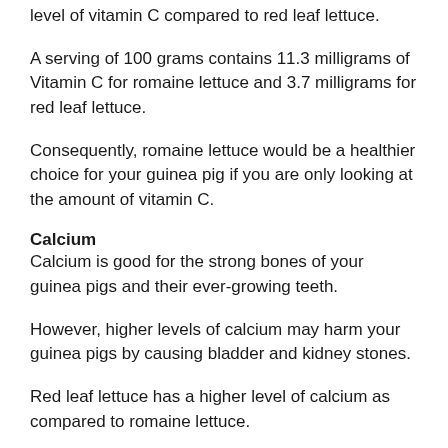level of vitamin C compared to red leaf lettuce.
A serving of 100 grams contains 11.3 milligrams of Vitamin C for romaine lettuce and 3.7 milligrams for red leaf lettuce.
Consequently, romaine lettuce would be a healthier choice for your guinea pig if you are only looking at the amount of vitamin C.
Calcium
Calcium is good for the strong bones of your guinea pigs and their ever-growing teeth.
However, higher levels of calcium may harm your guinea pigs by causing bladder and kidney stones.
Red leaf lettuce has a higher level of calcium as compared to romaine lettuce.
In 100 grams of lettuce, red leaf type has 33